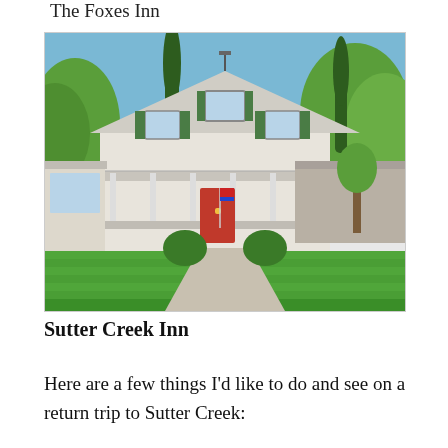The Foxes Inn
[Figure (photo): Exterior photo of the Sutter Creek Inn — a white Victorian-style house with green shutters, a red front door, wide porch, manicured green lawn, and tall cypress and leafy trees in the background under a blue sky.]
Sutter Creek Inn
Here are a few things I'd like to do and see on a return trip to Sutter Creek: